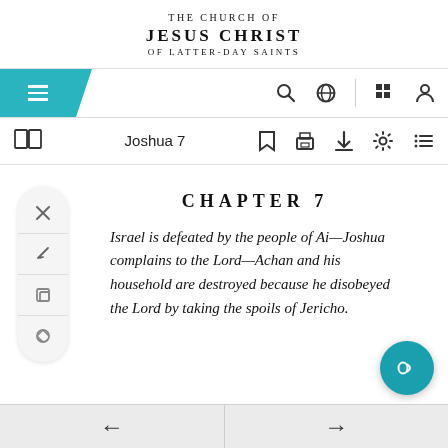THE CHURCH OF JESUS CHRIST OF LATTER-DAY SAINTS
Joshua 7
CHAPTER 7
Israel is defeated by the people of Ai—Joshua complains to the Lord—Achan and his household are destroyed because he disobeyed the Lord by taking the spoils of Jericho.